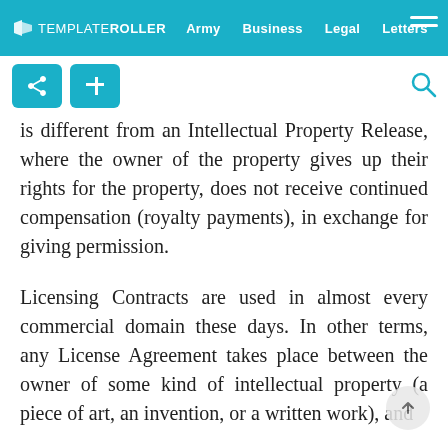TEMPLATEROLLER  Army  Business  Legal  Letters  Life
is different from an Intellectual Property Release, where the owner of the property gives up their rights for the property, does not receive continued compensation (royalty payments), in exchange for giving permission.
Licensing Contracts are used in almost every commercial domain these days. In other terms, any License Agreement takes place between the owner of some kind of intellectual property (a piece of art, an invention, or a written work), and